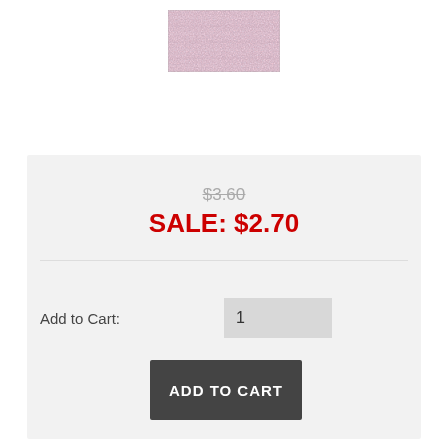[Figure (photo): A swatch of shimmery pinkish-mauve metallic thread or fabric texture]
$3.60 (strikethrough original price)
SALE: $2.70
Add to Cart: 1
ADD TO CART